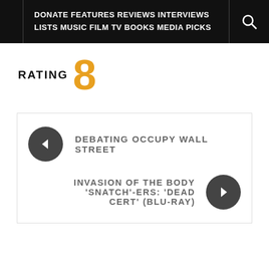DONATE FEATURES REVIEWS INTERVIEWS LISTS MUSIC FILM TV BOOKS MEDIA PICKS
RATING 8
← DEBATING OCCUPY WALL STREET
INVASION OF THE BODY 'SNATCH'-ERS: 'DEAD CERT' (BLU-RAY) →